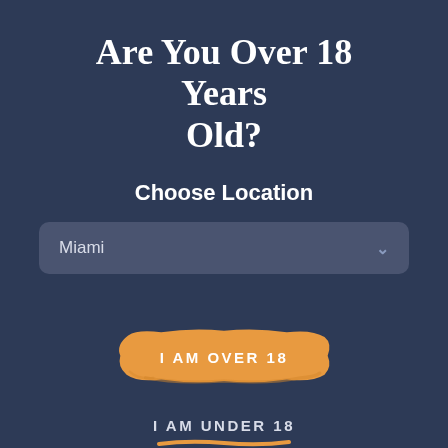Are You Over 18 Years Old?
Choose Location
Miami
[Figure (illustration): Orange paint brush stroke button with text 'I AM OVER 18']
I AM UNDER 18